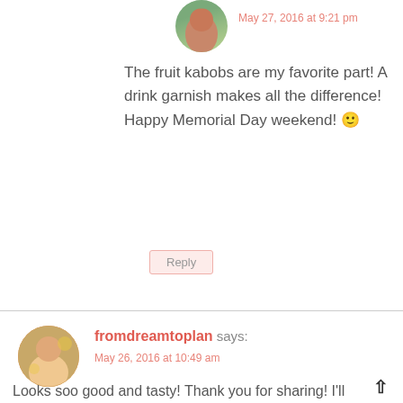[Figure (photo): Circular avatar photo of a woman, partially cropped at top]
May 27, 2016 at 9:21 pm
The fruit kabobs are my favorite part! A drink garnish makes all the difference! Happy Memorial Day weekend! 🙂
Reply
fromdreamtoplan says:
May 26, 2016 at 10:49 am
Looks soo good and tasty! Thank you for sharing! I'll definitely try it!! 🙂
https://fromdreamtoplan.wordpress.com/
Reply
[Figure (photo): Circular avatar photo of Amanda Bella]
Amanda Bella says: